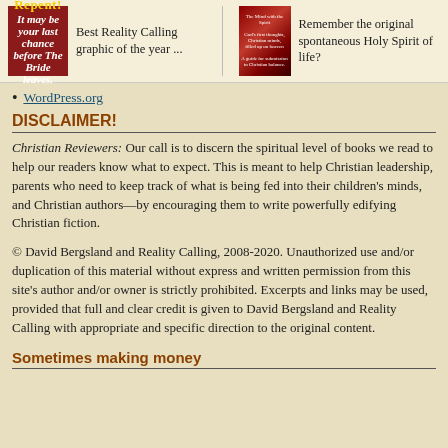Best Reality Calling graphic of the year ...
Remember the original spontaneous Holy Spirit of life?
WordPress.org
DISCLAIMER!
Christian Reviewers: Our call is to discern the spiritual level of books we read to help our readers know what to expect. This is meant to help Christian leadership, parents who need to keep track of what is being fed into their children's minds, and Christian authors—by encouraging them to write powerfully edifying Christian fiction.
© David Bergsland and Reality Calling, 2008-2020. Unauthorized use and/or duplication of this material without express and written permission from this site's author and/or owner is strictly prohibited. Excerpts and links may be used, provided that full and clear credit is given to David Bergsland and Reality Calling with appropriate and specific direction to the original content.
Sometimes making money